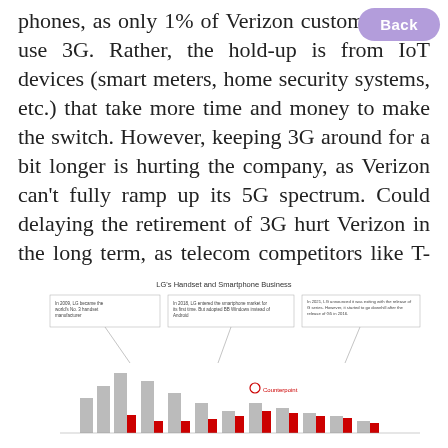phones, as only 1% of Verizon customers still use 3G. Rather, the hold-up is from IoT devices (smart meters, home security systems, etc.) that take more time and money to make the switch. However, keeping 3G around for a bit longer is hurting the company, as Verizon can't fully ramp up its 5G spectrum. Could delaying the retirement of 3G hurt Verizon in the long term, as telecom competitors like T-Mobile fully embrace 5G?
[Figure (bar-chart): Bar chart showing LG's handset and smartphone business over time with annotations about key events in 2009, 2018, and 2021. Gray and red bars with Counterpoint Research logo.]